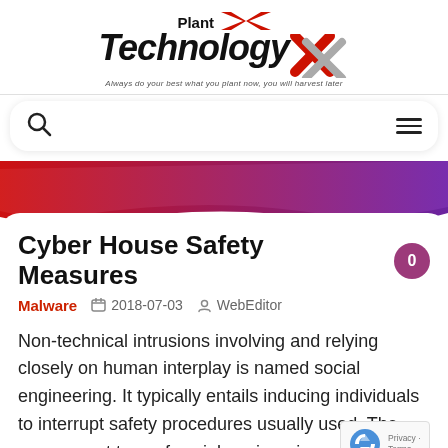[Figure (logo): Plant Technology X logo with italic bold text and a red/gray X graphic, tagline: 'Always do your best what you plant now, you will harvest later']
[Figure (screenshot): Navigation bar with search icon (magnifying glass) on left and hamburger menu icon on right]
[Figure (illustration): Decorative gradient banner strip, red on left transitioning to purple on right, with layered curved shapes]
Cyber House Safety Measures
Malware   2018-07-03   WebEditor
Non-technical intrusions involving and relying closely on human interplay is named social engineering. It typically entails inducing individuals to interrupt safety procedures usually used. The commonest type of social engineering